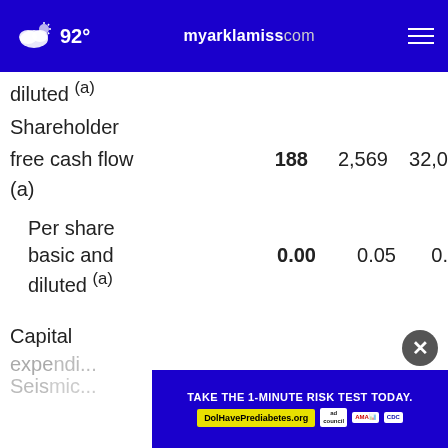92° myarklamiss.com
diluted (a)
Shareholder free cash flow (a)
|  |  |  |  |
| --- | --- | --- | --- |
| Shareholder free cash flow (a) | 188 | 2,569 | 32,0 |
| Per share basic and diluted (a) | 0.00 | 0.05 | 0. |
Capital
expe...
Seis...